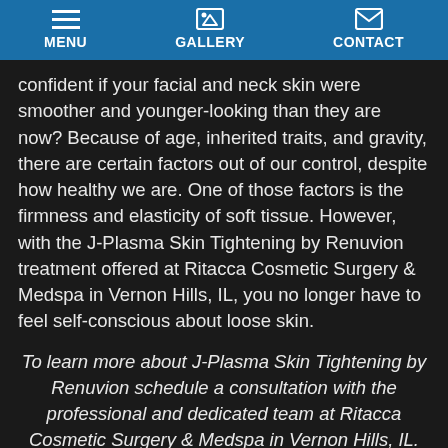MENU | GALLERY | CONTACT
confident if your facial and neck skin were smoother and younger-looking than they are now? Because of age, inherited traits, and gravity, there are certain factors out of our control, despite how healthy we are. One of those factors is the firmness and elasticity of soft tissue. However, with the J-Plasma Skin Tightening by Renuvion treatment offered at Ritacca Cosmetic Surgery & Medspa in Vernon Hills, IL, you no longer have to feel self-conscious about loose skin.
To learn more about J-Plasma Skin Tightening by Renuvion schedule a consultation with the professional and dedicated team at Ritacca Cosmetic Surgery & Medspa in Vernon Hills, IL. Call today at 847-367-8815.